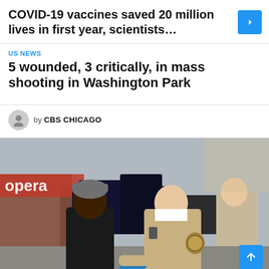COVID-19 vaccines saved 20 million lives in first year, scientists...
US NEWS
5 wounded, 3 critically, in mass shooting in Washington Park
by CBS CHICAGO
[Figure (photo): A law enforcement officer in a tan/khaki uniform with a sheriff badge speaks with a person wearing a black hoodie and a gray knitted cap. They appear to be outdoors in a parking area with vehicles and other officers in the background. Partial text 'opera' visible on a building sign.]